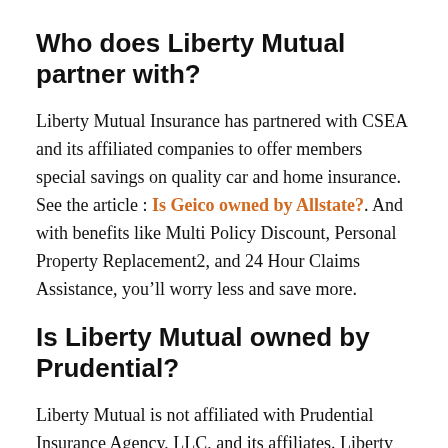Who does Liberty Mutual partner with?
Liberty Mutual Insurance has partnered with CSEA and its affiliated companies to offer members special savings on quality car and home insurance. See the article : Is Geico owned by Allstate?. And with benefits like Multi Policy Discount, Personal Property Replacement2, and 24 Hour Claims Assistance, you’ll worry less and save more.
Is Liberty Mutual owned by Prudential?
Liberty Mutual is not affiliated with Prudential Insurance Agency, LLC, and its affiliates. Liberty Mutual is an Equal Housing